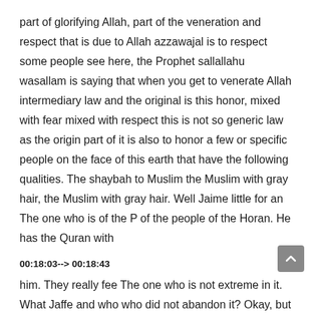part of glorifying Allah, part of the veneration and respect that is due to Allah azzawajal is to respect some people see here, the Prophet sallallahu wasallam is saying that when you get to venerate Allah intermediary law and the original is this honor, mixed with fear mixed with respect this is not so generic law as the origin part of it is also to honor a few or specific people on the face of this earth that have the following qualities. The shaybah to Muslim the Muslim with gray hair, the Muslim with gray hair. Well Jaime little for an The one who is of the P of the people of the Horan. He has the Quran with
00:18:03--> 00:18:43
him. They really fee The one who is not extreme in it. What Jaffe and who who did not abandon it? Okay, but he's walking the middle path with the Koran will try to explain it way crumb this whole time. And to also honor the just ruler the just governor that just prints the just